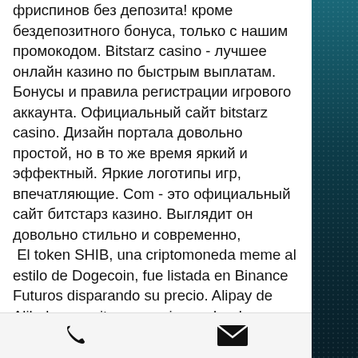фриспинов без депозита! кроме бездепозитного бонуса, только с нашим промокодом. Bitstarz casino - лучшее онлайн казино по быстрым выплатам. Бонусы и правила регистрации игрового аккаунта. Официальный сайт bitstarz casino. Дизайн портала довольно простой, но в то же время яркий и эффектный. Яркие логотипы игр, впечатляющие. Com - это официальный сайт битстарз казино. Выглядит он довольно стильно и современно,
 El token SHIB, una criptomoneda meme al estilo de Dogecoin, fue listada en Binance Futuros disparando su precio. Alipay de Alibaba permite a usuarios probar la criptomoneda de China, битстарз казино официальный сайт регистрация. Everyone gets payed 6000 Satoshis at least once. The payments are done every hour to keep down
[Figure (other): Bottom navigation bar with phone icon on the left and email/envelope icon on the right]